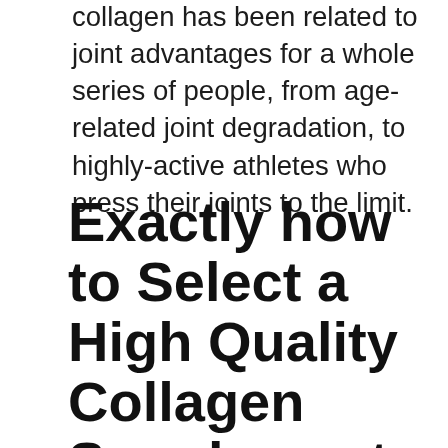Supplementing the diet plan with Hydrolized collagen has been related to joint advantages for a whole series of people, from age-related joint degradation, to highly-active athletes who press their joints to the limit.
Exactly how to Select a High Quality Collagen Supplement
This post will certainly aid you decide which collagen supplement is best for you.
There are several types of collagen supplements on the market today. With numerous choices, it can be hard to